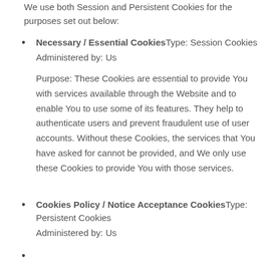We use both Session and Persistent Cookies for the purposes set out below:
Necessary / Essential CookiesType: Session Cookies
Administered by: Us

Purpose: These Cookies are essential to provide You with services available through the Website and to enable You to use some of its features. They help to authenticate users and prevent fraudulent use of user accounts. Without these Cookies, the services that You have asked for cannot be provided, and We only use these Cookies to provide You with those services.
Cookies Policy / Notice Acceptance CookiesType: Persistent Cookies
Administered by: Us
(partial, cut off at bottom)